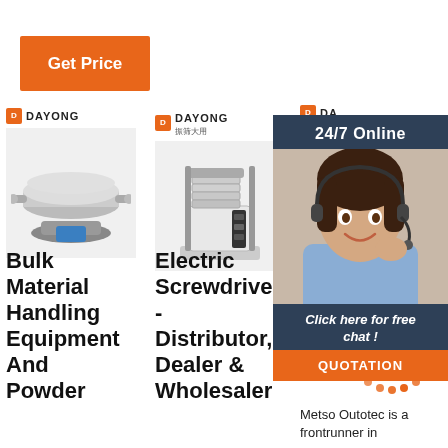[Figure (other): Orange 'Get Price' button]
[Figure (photo): Dayong vibrating sieve/sifter machine - industrial bulk material handling equipment]
[Figure (photo): Dayong electric screwdriver / sieve shaker machine with test sieves stacked]
[Figure (photo): Customer service representative with headset - 24/7 Online chat widget with 'Click here for free chat!' and QUOTATION button]
Bulk Material Handling Equipment And Powder
Electric Screwdriver - Distributor, Dealer & Wholesaler
Metso Global Website - Metso
Metso Outotec is a frontrunner in